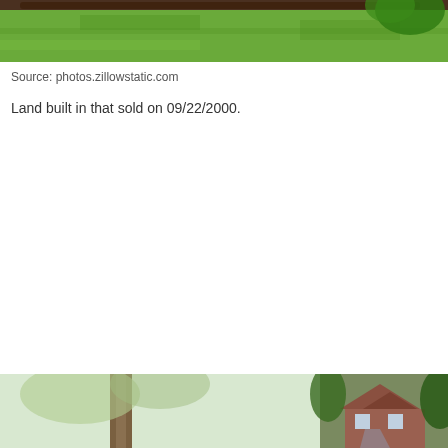[Figure (photo): Aerial or ground-level photo of a green lawn with trees and a dark garden border strip at the top]
Source: photos.zillowstatic.com
Land built in that sold on 09/22/2000.
[Figure (photo): Two-panel photo at bottom: left shows trees/trunk, right shows a brick house with trees and driveway]